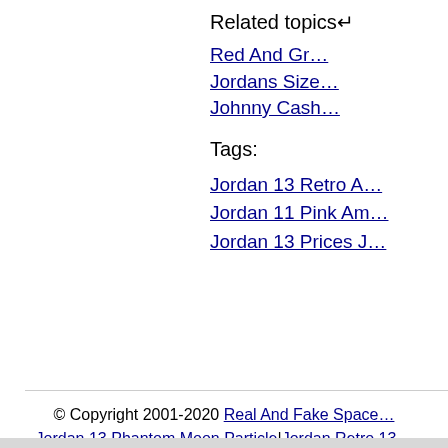Related topics↵
Red And Gr…
Jordans Size…
Johnny Cash…
Tags:
Jordan 13 Retro A…
Jordan 11 Pink Am…
Jordan 13 Prices J…
© Copyright 2001-2020 Real And Fake Space… Jordan 13 Phantom Moon Particle|Jordan Retro 13…